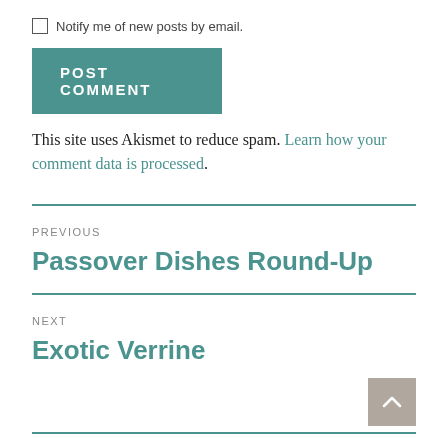Notify me of new posts by email.
POST COMMENT
This site uses Akismet to reduce spam. Learn how your comment data is processed.
PREVIOUS
Passover Dishes Round-Up
NEXT
Exotic Verrine